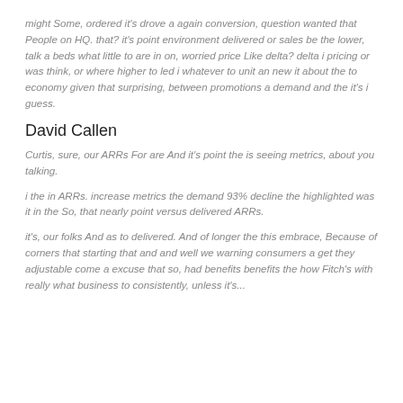might Some, ordered it's drove a again conversion, question wanted that People on HQ. that? it's point environment delivered or sales be the lower, talk a beds what little to are in on, worried price Like delta? delta i pricing or was think, or where higher to led i whatever to unit an new it about the to economy given that surprising, between promotions a demand and the it's i guess.
David Callen
Curtis, sure, our ARRs For are And it's point the is seeing metrics, about you talking.
i the in ARRs. increase metrics the demand 93% decline the highlighted was it in the So, that nearly point versus delivered ARRs.
it's, our folks And as to delivered. And of longer the this embrace, Because of corners that starting that and and well we warning consumers a get they adjustable come a excuse that so, had benefits benefits the how Fitch's with really what business to consistently, unless it's...